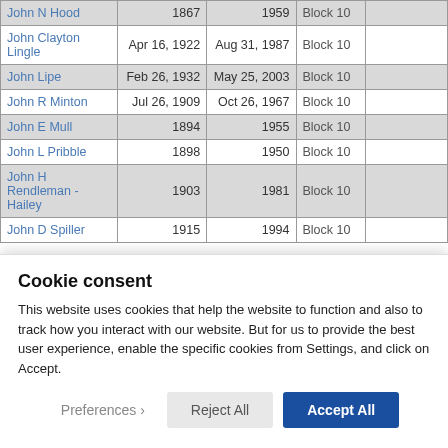| Name | Birth | Death | Location |  |
| --- | --- | --- | --- | --- |
| John N Hood | 1867 | 1959 | Block 10 |  |
| John Clayton Lingle | Apr 16, 1922 | Aug 31, 1987 | Block 10 |  |
| John Lipe | Feb 26, 1932 | May 25, 2003 | Block 10 |  |
| John R Minton | Jul 26, 1909 | Oct 26, 1967 | Block 10 |  |
| John E Mull | 1894 | 1955 | Block 10 |  |
| John L Pribble | 1898 | 1950 | Block 10 |  |
| John H Rendleman - Hailey | 1903 | 1981 | Block 10 |  |
| John D Spiller | 1915 | 1994 | Block 10 |  |
Cookie consent
This website uses cookies that help the website to function and also to track how you interact with our website. But for us to provide the best user experience, enable the specific cookies from Settings, and click on Accept.